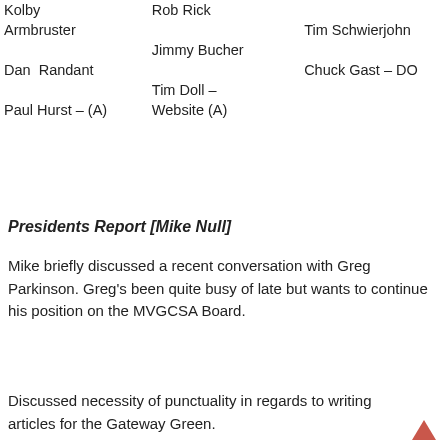Kolby   Rob Rick   Tim Schwierjohn
Armbruster
         Jimmy Bucher
Dan Randant            Chuck Gast – DO
         Tim Doll –
Paul Hurst – (A)  Website (A)
Presidents Report [Mike Null]
Mike briefly discussed a recent conversation with Greg Parkinson. Greg's been quite busy of late but wants to continue his position on the MVGCSA Board.
Discussed necessity of punctuality in regards to writing articles for the Gateway Green.